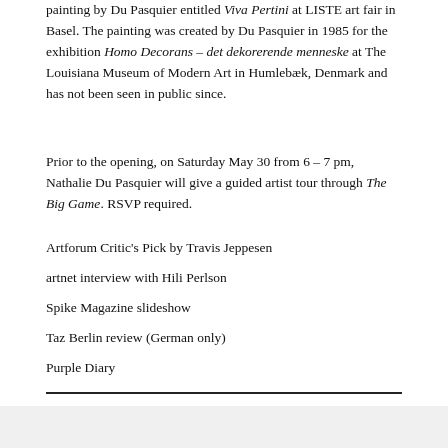painting by Du Pasquier entitled Viva Pertini at LISTE art fair in Basel. The painting was created by Du Pasquier in 1985 for the exhibition Homo Decorans – det dekorerende menneske at The Louisiana Museum of Modern Art in Humlebæk, Denmark and has not been seen in public since.
Prior to the opening, on Saturday May 30 from 6 – 7 pm, Nathalie Du Pasquier will give a guided artist tour through The Big Game. RSVP required.
Artforum Critic's Pick by Travis Jeppesen
artnet interview with Hili Perlson
Spike Magazine slideshow
Taz Berlin review (German only)
Purple Diary
Back to top